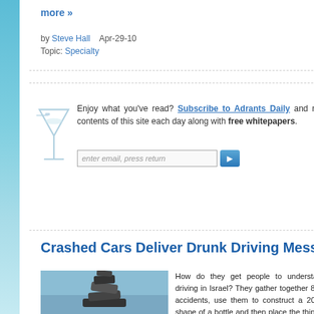more »
by Steve Hall   Apr-29-10
Topic: Specialty
Enjoy what you've read? Subscribe to Adrants Daily and re contents of this site each day along with free whitepapers.
Crashed Cars Deliver Drunk Driving Mess
[Figure (photo): Stacked crashed cars forming a sculpture in the shape of a bottle against a blue sky]
How do they get people to understand driving in Israel? They gather together 80 c accidents, use them to construct a 20 m shape of a bottle and then place the thing a a simple message: don't drink and drive.